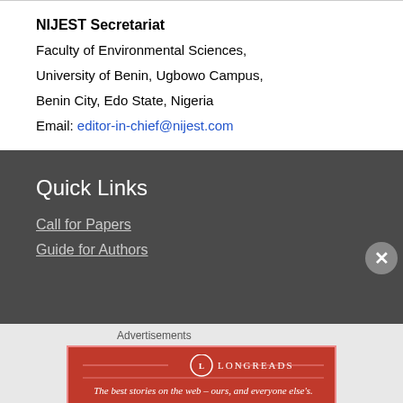NIJEST Secretariat
Faculty of Environmental Sciences,
University of Benin, Ugbowo Campus,
Benin City, Edo State, Nigeria
Email: editor-in-chief@nijest.com
Quick Links
Call for Papers
Guide for Authors
Advertisements
[Figure (other): Longreads advertisement banner: red banner with Longreads logo and tagline 'The best stories on the web – ours, and everyone else's.']